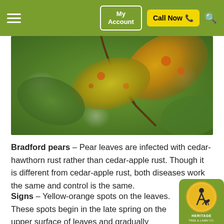My Account | Call Now | Search
[Figure (photo): Close-up photograph of pear tree leaves infected with cedar-hawthorn rust, showing yellow-orange discoloration against a green bokeh background.]
Bradford pears – Pear leaves are infected with cedar-hawthorn rust rather than cedar-apple rust. Though it is different from cedar-apple rust, both diseases work the same and control is the same.
Signs – Yellow-orange spots on the leaves. These spots begin in the late spring on the upper surface of leaves and gradually enlarge and turn orange during the summer months.